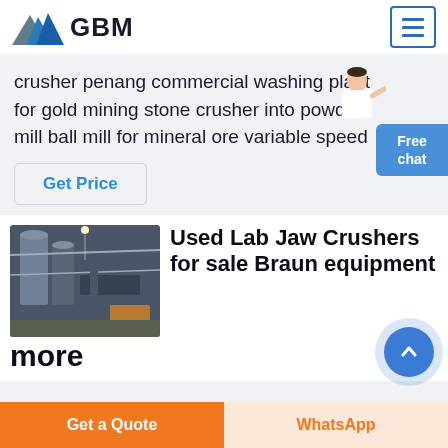GBM
crusher penang commercial washing plant for gold mining stone crusher into powder mill ball mill for mineral ore variable speed
Get Price
Used Lab Jaw Crushers for sale Braun equipment more
[Figure (photo): Industrial facility with silos, conveyor equipment and warehouse interior]
Get a Quote
WhatsApp